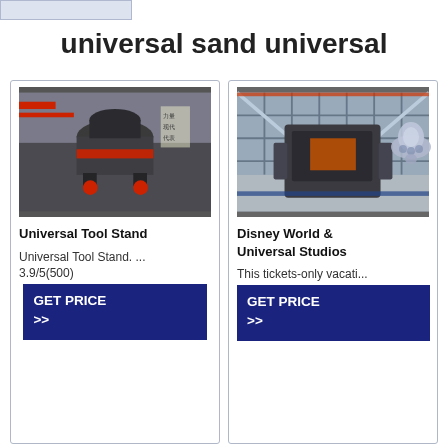universal sand universal
[Figure (photo): Industrial cone crusher machine in a factory setting, grey with red band]
Universal Tool Stand
Universal Tool Stand. ... 3.9/5(500)
GET PRICE >>
[Figure (photo): Large industrial impact crusher machine in a warehouse with glass facade]
Disney World & Universal Studios
This tickets-only vacati...
GET PRICE >>